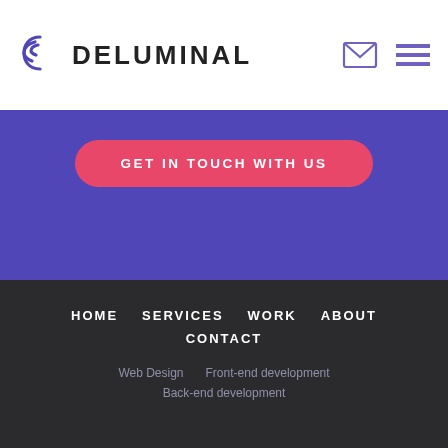DELUMINAL
[Figure (illustration): Purple hero band with a pink rounded CTA button reading GET IN TOUCH WITH US]
GET IN TOUCH WITH US
HOME   SERVICES   WORK   ABOUT
CONTACT
Web Design   Front-end development
Back-end development